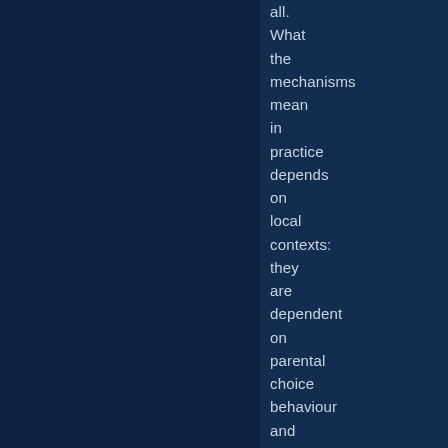all. What the mechanisms mean in practice depends on local contexts: they are dependent on parental choice behaviour and action by schools involved